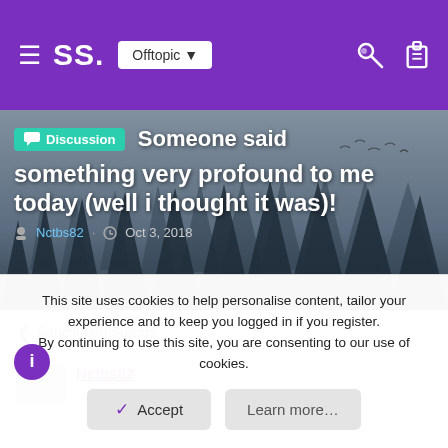SS. Offtopic
[Figure (screenshot): Hero image of misty forest with tall pine trees and birds, with overlaid text showing a Discussion post titled 'Someone said something very profound to me today (well i thought it was)!' by Nctbs82, Oct 3, 2018]
< Sanctioned Suicide
Nctbs82
This site uses cookies to help personalise content, tailor your experience and to keep you logged in if you register. By continuing to use this site, you are consenting to our use of cookies.
Accept
Learn more...